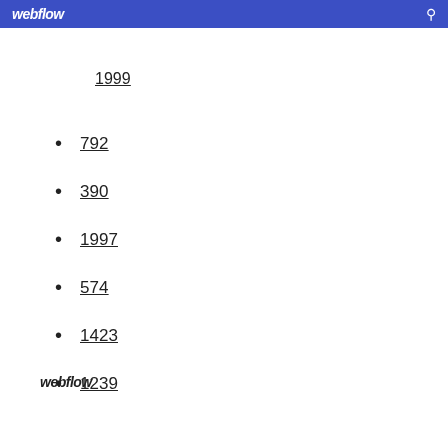webflow
1999
792
390
1997
574
1423
1239
webflow